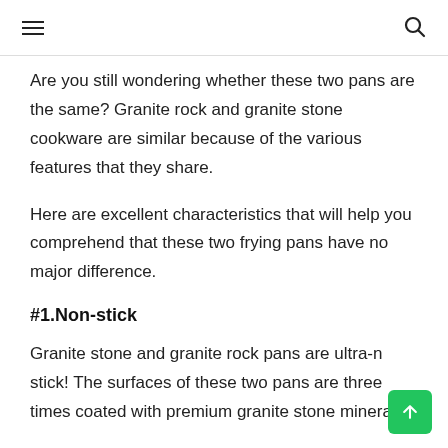Navigation header with hamburger menu and search icon
Are you still wondering whether these two pans are the same? Granite rock and granite stone cookware are similar because of the various features that they share.
Here are excellent characteristics that will help you comprehend that these two frying pans have no major difference.
#1.Non-stick
Granite stone and granite rock pans are ultra-non-stick! The surfaces of these two pans are three times coated with premium granite stone minerals